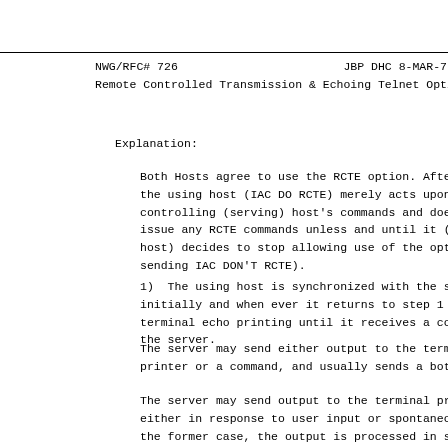NWG/RFC# 726                     JBP DHC 8-MAR-7
Remote Controlled Transmission & Echoing Telnet Optio
Explanation:
Both Hosts agree to use the RCTE option. After th
the using host (IAC DO RCTE) merely acts upon the
controlling (serving) host's commands and does no
issue any RCTE commands unless and until it (usin
host) decides to stop allowing use of the option 
sending IAC DON'T RCTE).
1)  The using host is synchronized with the serve
initially and when ever it returns to step 1 susp
terminal echo printing until it receives a comman
the server.
The server may send either output to the terminal
printer or a command, and usually sends a both.
The server may send output to the terminal printe
either in response to user input or spontaneously
the former case, the output is processed in step